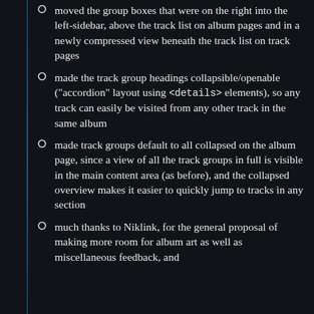moved the group boxes that were on the right into the left-sidebar, above the track list on album pages and in a newly compressed view beneath the track list on track pages
made the track group headings collapsible/openable ("accordion" layout using <details> elements), so any track can easily be visited from any other track in the same album
made track groups default to all collapsed on the album page, since a view of all the track groups in full is visible in the main content area (as before), and the collapsed overview makes it easier to quickly jump to tracks in any section
much thanks to Niklink, for the general proposal of making more room for album art as well as miscellaneous feedback, and